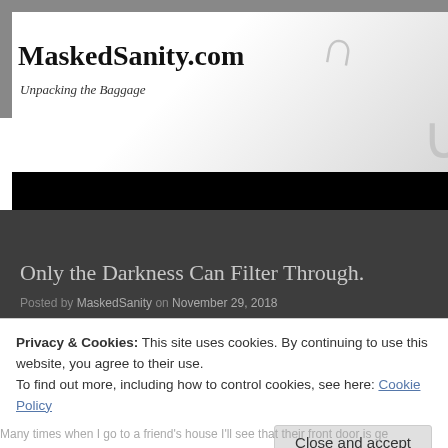[Figure (screenshot): Website header banner for MaskedSanity.com with light textured/grainy background and decorative arc marks]
MaskedSanity.com
Unpacking the Baggage
[Figure (screenshot): Black navigation bar]
Only the Darkness Can Filter Through.
Posted by MaskedSanity on November 29, 2018
Privacy & Cookies: This site uses cookies. By continuing to use this website, you agree to their use.
To find out more, including how to control cookies, see here: Cookie Policy
Close and accept
Many times when I go to a friend's house I'll see that their front door is ge...